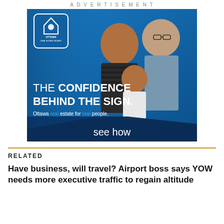ADVERTISEMENT
[Figure (photo): Ottawa Real Estate Board advertisement. Blue background with a smiling family (woman, child, man). Logo of Ottawa Real Estate Board in top left. Text: THE CONFIDENCE BEHIND THE SIGN. Ottawa real estate for real people. see how]
RELATED
Have business, will travel? Airport boss says YOW needs more executive traffic to regain altitude